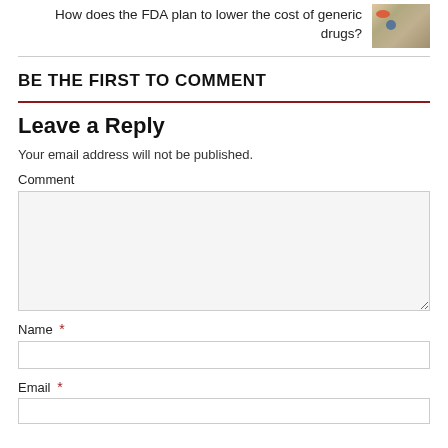How does the FDA plan to lower the cost of generic drugs?
[Figure (photo): Colorful pills and capsules close-up photo]
BE THE FIRST TO COMMENT
Leave a Reply
Your email address will not be published.
Comment
Name *
Email *